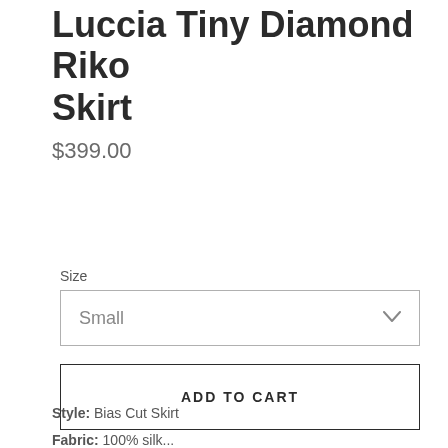Luccia Tiny Diamond Riko Skirt
$399.00
Size
Small
ADD TO CART
Style: Bias Cut Skirt
Fabric: 100% silk...